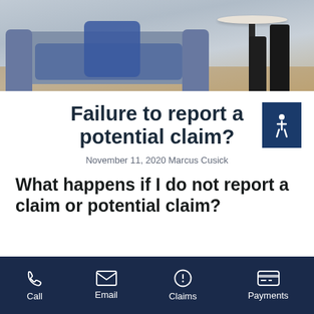[Figure (photo): Photo of a person sitting on a gray couch near a round white table, with another person's legs in dark boots visible, on a woven rug floor]
Failure to report a potential claim?
November 11, 2020 Marcus Cusick
What happens if I do not report a claim or potential claim?
Call  Email  Claims  Payments